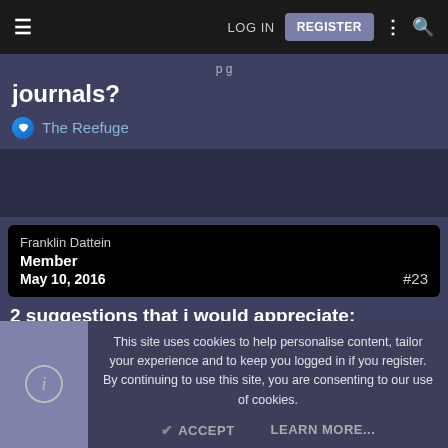LOG IN  REGISTER
journals?
The Reefuge
Franklin Dattein
Member
May 10, 2016
#23
2 suggestions that i would appreciate:
- tapatalk compatibility
- email notifications to carry the post content
This site uses cookies to help personalise content, tailor your experience and to keep you logged in if you register. By continuing to use this site, you are consenting to our use of cookies.
ACCEPT  LEARN MORE...